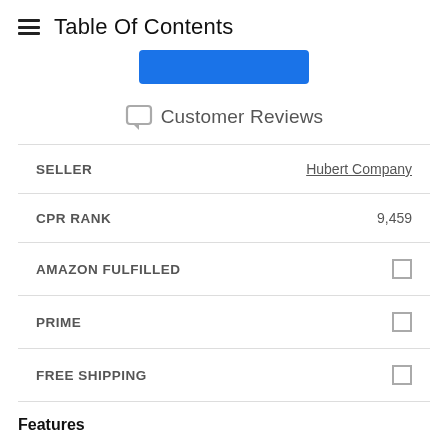Table Of Contents
[Figure (other): Blue button bar]
Customer Reviews
| Field | Value |
| --- | --- |
| SELLER | Hubert Company |
| CPR RANK | 9,459 |
| AMAZON FULFILLED |  |
| PRIME |  |
| FREE SHIPPING |  |
Features